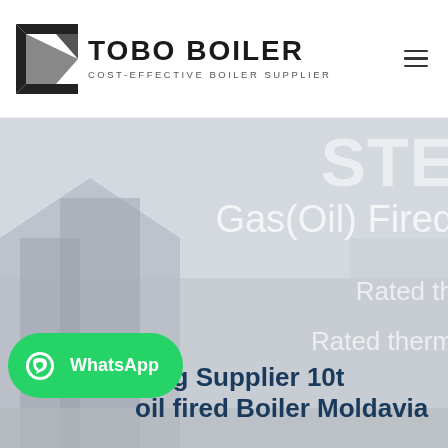[Figure (logo): TOBO BOILER logo with black geometric icon and text 'TOBO BOILER COST-EFFECTIVE BOILER SUPPLIER']
[Figure (photo): Hero banner showing industrial boiler/building in muted gray tones with overlaid white semi-transparent text 'STE...', 'Gas(Oil) Fired', 'Rated th...', 'Rated therm...' partially cropped on right side]
...ving Supplier 10t oil fired Boiler Moldavia
[Figure (logo): WhatsApp green button with phone icon and 'WhatsApp' label]